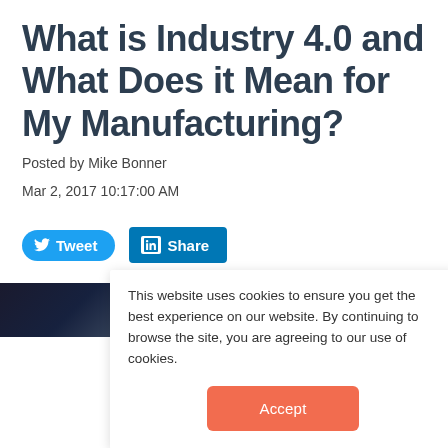What is Industry 4.0 and What Does it Mean for My Manufacturing?
Posted by Mike Bonner
Mar 2, 2017 10:17:00 AM
[Figure (screenshot): Tweet and LinkedIn Share social media buttons]
[Figure (photo): Dark industrial/manufacturing image strip showing machinery]
This website uses cookies to ensure you get the best experience on our website. By continuing to browse the site, you are agreeing to our use of cookies.
Accept